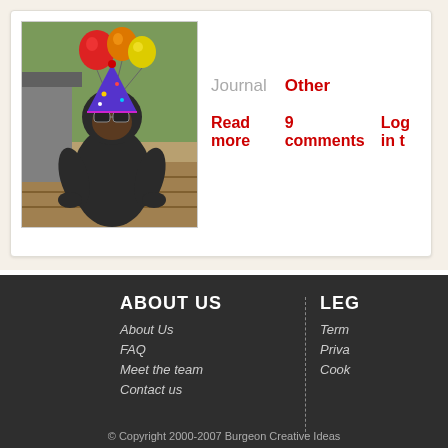[Figure (photo): A chimpanzee wearing a purple party hat and sunglasses, sitting on wooden boards outdoors, with colorful balloons (red, orange, yellow) attached nearby.]
Journal   Other
Read more   9 comments   Log in t
ABOUT US
About Us
FAQ
Meet the team
Contact us
LEG
Term
Priva
Cook
© Copyright 2000-2007 Burgeon Creative Ideas